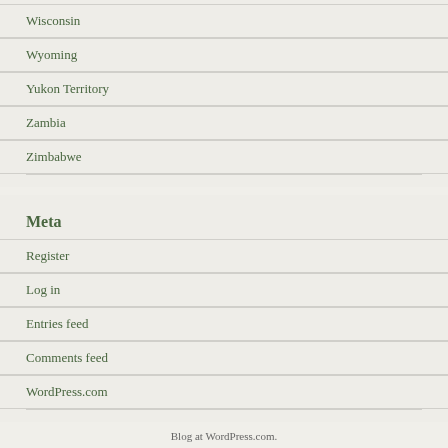Wisconsin
Wyoming
Yukon Territory
Zambia
Zimbabwe
Meta
Register
Log in
Entries feed
Comments feed
WordPress.com
Blog at WordPress.com.